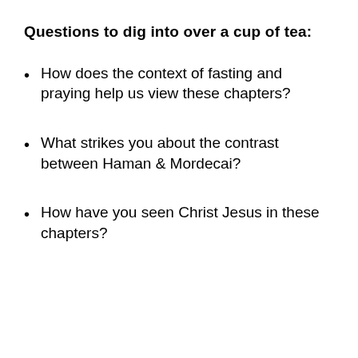Questions to dig into over a cup of tea:
How does the context of fasting and praying help us view these chapters?
What strikes you about the contrast between Haman & Mordecai?
How have you seen Christ Jesus in these chapters?